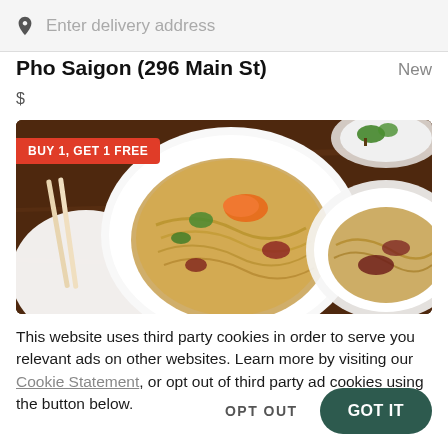Enter delivery address
Pho Saigon (296 Main St)
New
$
[Figure (photo): Food photo showing bowls of Vietnamese noodle dishes (pho/stir-fried noodles with shrimp and vegetables) on a dark wooden table with chopsticks. A red promotional badge reading 'BUY 1, GET 1 FREE' is overlaid on the top-left corner.]
This website uses third party cookies in order to serve you relevant ads on other websites. Learn more by visiting our Cookie Statement, or opt out of third party ad cookies using the button below.
OPT OUT
GOT IT